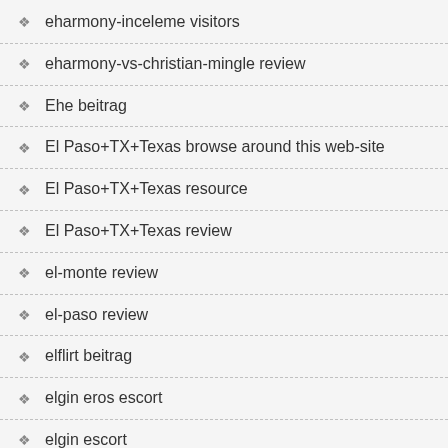eharmony-inceleme visitors
eharmony-vs-christian-mingle review
Ehe beitrag
El Paso+TX+Texas browse around this web-site
El Paso+TX+Texas resource
El Paso+TX+Texas review
el-monte review
el-paso review
elflirt beitrag
elgin eros escort
elgin escort
Elite cute date ideas